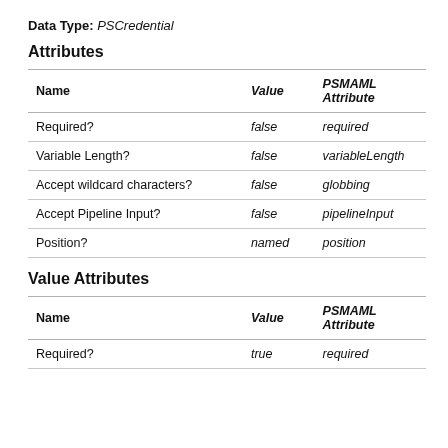Data Type: PSCredential
Attributes
| Name | Value | PSMAML Attribute |
| --- | --- | --- |
| Required? | false | required |
| Variable Length? | false | variableLength |
| Accept wildcard characters? | false | globbing |
| Accept Pipeline Input? | false | pipelineInput |
| Position? | named | position |
Value Attributes
| Name | Value | PSMAML Attribute |
| --- | --- | --- |
| Required? | true | required |